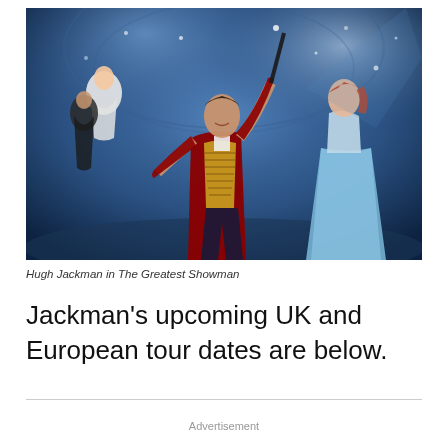[Figure (photo): Promotional movie poster image for The Greatest Showman showing Hugh Jackman in a red ringmaster coat with gold embellishments, arm raised holding a baton, surrounded by performers including a woman in a blue ball gown on the right and acrobatic performers on the left, against a blue theatrical background.]
Hugh Jackman in The Greatest Showman
Jackman's upcoming UK and European tour dates are below.
Advertisement